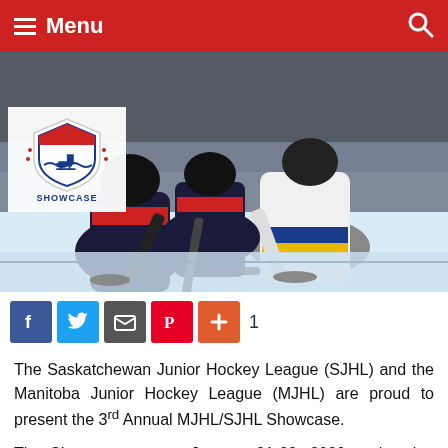Menu
[Figure (photo): Hockey players at a face-off on the ice rink. Players in dark red/navy uniforms and white/blue/yellow uniforms competing. A referee is visible. MJHL Showcase logo overlay in top left corner.]
Social share bar with Facebook, Twitter, Email, Pinterest, and + buttons, count: 1
The Saskatchewan Junior Hockey League (SJHL) and the Manitoba Junior Hockey League (MJHL) are proud to present the 3rd Annual MJHL/SJHL Showcase.
The Showcase returns January 21-22, 2020, welcoming sixty (60) players from each league